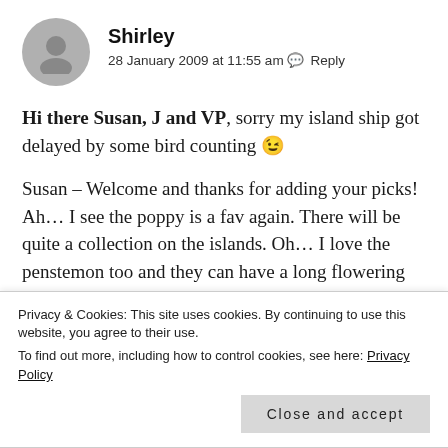Shirley
28 January 2009 at 11:55 am · Reply
Hi there Susan, J and VP, sorry my island ship got delayed by some bird counting 😉
Susan – Welcome and thanks for adding your picks! Ah... I see the poppy is a fav again. There will be quite a collection on the islands. Oh... I love the penstemon too and they can have a long flowering season – bees love them. Excellent! A dogwood another great choice. I love their stems. Great. I
Privacy & Cookies: This site uses cookies. By continuing to use this website, you agree to their use.
To find out more, including how to control cookies, see here: Privacy Policy
Close and accept